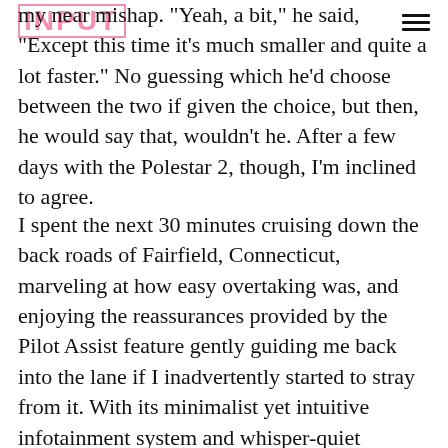INPUT (logo) | hamburger menu
my near mishap. "Yeah, a bit," he said, "Except this time it's much smaller and quite a lot faster." No guessing which he'd choose between the two if given the choice, but then, he would say that, wouldn't he. After a few days with the Polestar 2, though, I'm inclined to agree.
I spent the next 30 minutes cruising down the back roads of Fairfield, Connecticut, marveling at how easy overtaking was, and enjoying the reassurances provided by the Pilot Assist feature gently guiding me back into the lane if I inadvertently started to stray from it. With its minimalist yet intuitive infotainment system and whisper-quiet operation, the Polestar 2 felt more like a space-age toy than a luxury car at first, and the craning necks of other drivers and pedestrians